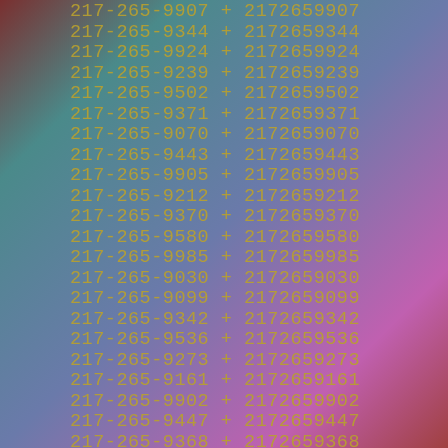217-265-9907 + 2172659907
217-265-9344 + 2172659344
217-265-9924 + 2172659924
217-265-9239 + 2172659239
217-265-9502 + 2172659502
217-265-9371 + 2172659371
217-265-9070 + 2172659070
217-265-9443 + 2172659443
217-265-9905 + 2172659905
217-265-9212 + 2172659212
217-265-9370 + 2172659370
217-265-9580 + 2172659580
217-265-9985 + 2172659985
217-265-9030 + 2172659030
217-265-9099 + 2172659099
217-265-9342 + 2172659342
217-265-9536 + 2172659536
217-265-9273 + 2172659273
217-265-9161 + 2172659161
217-265-9902 + 2172659902
217-265-9447 + 2172659447
217-265-9368 + 2172659368
217-265-9174 + 2172659174